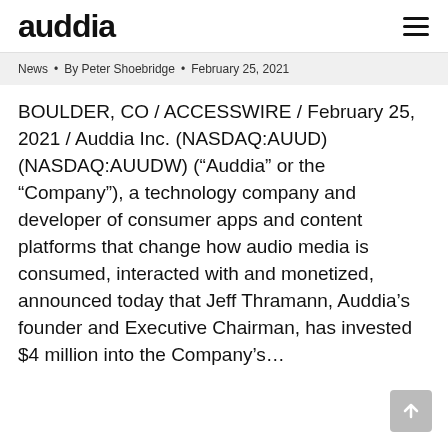auddia
News • By Peter Shoebridge • February 25, 2021
BOULDER, CO / ACCESSWIRE / February 25, 2021 / Auddia Inc. (NASDAQ:AUUD) (NASDAQ:AUUDW) (“Auddia” or the “Company”), a technology company and developer of consumer apps and content platforms that change how audio media is consumed, interacted with and monetized, announced today that Jeff Thramann, Auddia’s founder and Executive Chairman, has invested $4 million into the Company’s…